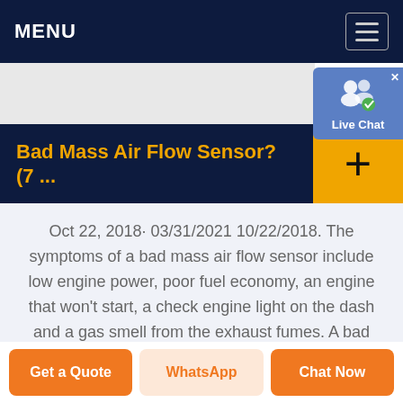MENU
[Figure (screenshot): Live Chat widget with user icon and blue background]
Bad Mass Air Flow Sensor? (7 ...
Oct 22, 2018· 03/31/2021 10/22/2018. The symptoms of a bad mass air flow sensor include low engine power, poor fuel economy, an engine that won't start, a check engine light on the dash and a gas smell from the exhaust fumes. A bad mass air flow sensor is often the likely culprit if your car isn't running as it should. The job of the mass air flow sensor ...
Get a Quote | WhatsApp | Chat Now